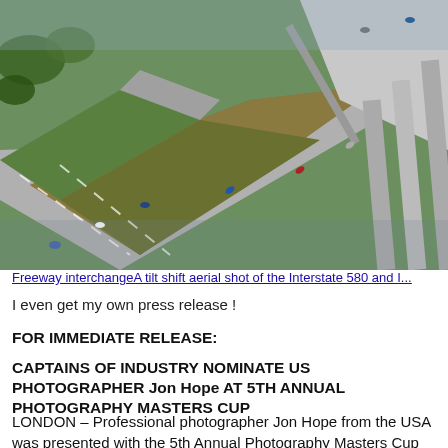[Figure (photo): Aerial tilt-shift photograph of a freeway interchange showing Interstate 580 and another highway, with cars visible on multiple road lanes and green median strips, taken from above at an angle.]
Freeway interchangeA tilt shift aerial shot of the Interstate 580 and I...
I even get my own press release !
FOR IMMEDIATE RELEASE:
CAPTAINS OF INDUSTRY NOMINATE US PHOTOGRAPHER Jon Hope AT 5TH ANNUAL PHOTOGRAPHY MASTERS CUP
LONDON – Professional photographer Jon Hope from the USA was presented with the 5th Annual Photography Masters Cup Nomination title in the category of Aerial Photography at...